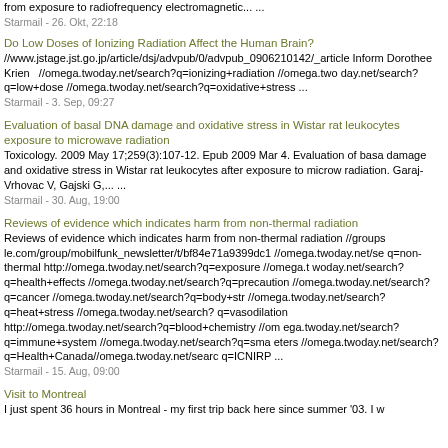from exposure to radiofrequency electromagnetic... ...
Starmail - 26. Okt, 22:18
Do Low Doses of Ionizing Radiation Affect the Human Brain?
//www.jstage.jst.go.jp/article/dsj/advpub/0/advpub_0906210142/_article Inform Dorothee Krien  //omega.twoday.net/search?q=ionizing+radiation //omega.twoday.net/search?q=low+dose //omega.twoday.net/search?q=oxidative+stress ...
Starmail - 3. Sep, 09:27
Evaluation of basal DNA damage and oxidative stress in Wistar rat leukocytes exposure to microwave radiation
Toxicology. 2009 May 17;259(3):107-12. Epub 2009 Mar 4. Evaluation of basal damage and oxidative stress in Wistar rat leukocytes after exposure to microwave radiation. Garaj-Vrhovac V, Gajski G,... ...
Starmail - 30. Aug, 19:00
Reviews of evidence which indicates harm from non-thermal radiation
Reviews of evidence which indicates harm from non-thermal radiation //groups.le.com/group/mobilfunk_newsletter/t/bf84e71a9399dc1 //omega.twoday.net/search?q=non-thermal http://omega.twoday.net/search?q=exposure //omega.twoday.net/search?q=health+effects //omega.twoday.net/search?q=precaution //omega.twoday.net/search?q=cancer //omega.twoday.net/search?q=body+stress //omega.twoday.net/search?q=heat+stress //omega.twoday.net/search?q=vasodilation http://omega.twoday.net/search?q=blood+chemistry //omega.twoday.net/search?q=immune+system //omega.twoday.net/search?q=sma eters //omega.twoday.net/search?q=Health+Canada//omega.twoday.net/search?q=ICNIRP ...
Starmail - 15. Aug, 09:00
Visit to Montreal
I just spent 36 hours in Montreal - my first trip back here since summer '03. I w